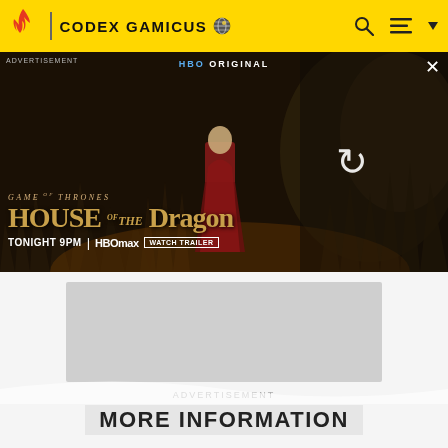CODEX GAMICUS
[Figure (screenshot): HBO Original advertisement banner for House of the Dragon - Game of Thrones prequel show. Shows 'TONIGHT 9PM | HBO max | WATCH TRAILER' with dark fantasy background featuring a dragon and a figure in red. Loading spinner visible on right side.]
ADVERTISEMENT
[Figure (screenshot): Gray placeholder advertisement block]
ADVERTISEMENT
MORE INFORMATION